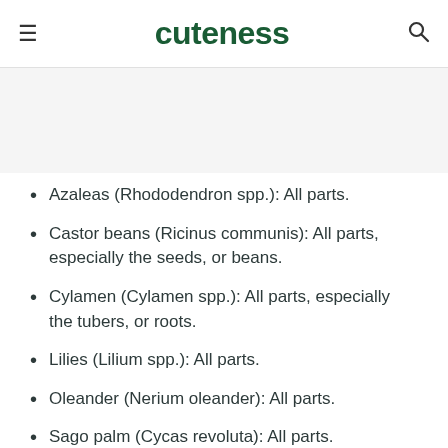cuteness
Azaleas (Rhododendron spp.): All parts.
Castor beans (Ricinus communis): All parts, especially the seeds, or beans.
Cylamen (Cylamen spp.): All parts, especially the tubers, or roots.
Lilies (Lilium spp.): All parts.
Oleander (Nerium oleander): All parts.
Sago palm (Cycas revoluta): All parts.